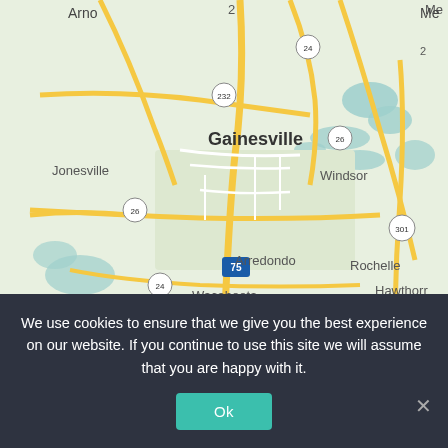[Figure (map): Google Maps screenshot showing Gainesville, Florida area with surrounding towns: Arno, Jonesville, Arredondo, Wacahoota, Windsor, Rochelle, Hawthorne; roads including I-75, US-232, US-26, US-24, US-301; water bodies visible in teal/blue.]
EmigrateCanada.com is all about arming you with the information you need to make informed decisions. We want you to be able to plan and manage your Canada Visa process to be successful, and with the minimum of fuss. With any number of Canada Immigration Lawyers in Gainesville, Florida it can be difficult to choose one to trust. Some of the most trusted Immigration Agents in Gainesville, Florida are featured below.
We use cookies to ensure that we give you the best experience on our website. If you continue to use this site we will assume that you are happy with it.